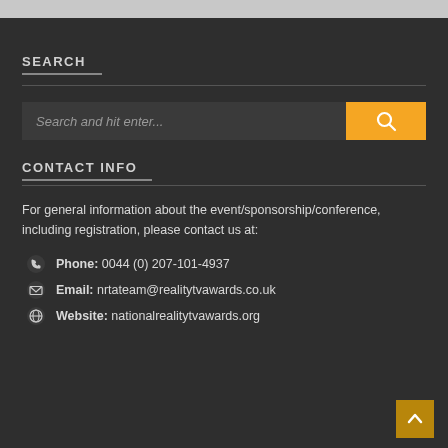SEARCH
[Figure (other): Search bar with text input placeholder 'Search and hit enter...' and an orange search button with magnifying glass icon]
CONTACT INFO
For general information about the event/sponsorship/conference, including registration, please contact us at:
Phone: 0044 (0) 207-101-4937
Email: nrtateam@realitytvawards.co.uk
Website: nationalrealitytvawards.org